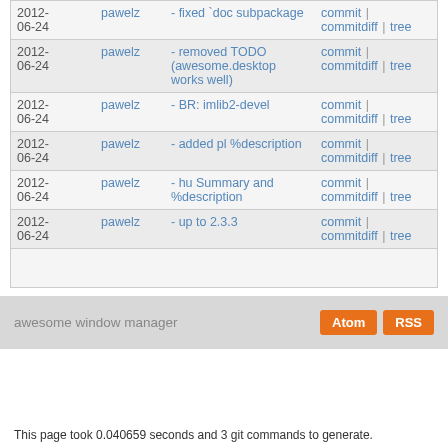| Date | Author | Message | Links |
| --- | --- | --- | --- |
| 2012-06-24 | pawelz | - fixed `doc subpackage | commit | commitdiff | tree |
| 2012-06-24 | pawelz | - removed TODO (awesome.desktop works well) | commit | commitdiff | tree |
| 2012-06-24 | pawelz | - BR: imlib2-devel | commit | commitdiff | tree |
| 2012-06-24 | pawelz | - added pl %description | commit | commitdiff | tree |
| 2012-06-24 | pawelz | - hu Summary and %description | commit | commitdiff | tree |
| 2012-06-24 | pawelz | - up to 2.3.3 | commit | commitdiff | tree |
awesome window manager
Atom  RSS
This page took 0.040659 seconds and 3 git commands to generate.